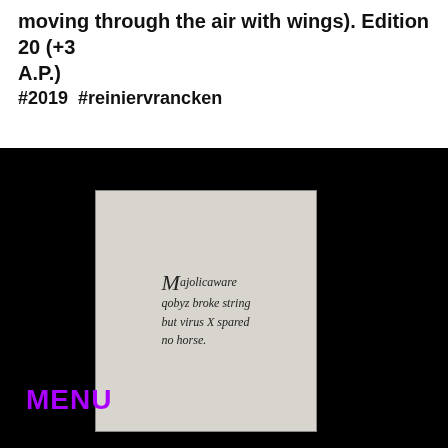moving through the air with wings). Edition 20 (+3 A.P.)
#2019  #reiniervrancken
[Figure (photo): A dark black background with a light gray book or card in the center displaying italic serif text: 'Majolicaware qobyz broke string but virus X spared no horse.' with a large drop capital M. A purple 'MENU' label appears in the lower left corner.]
MENU